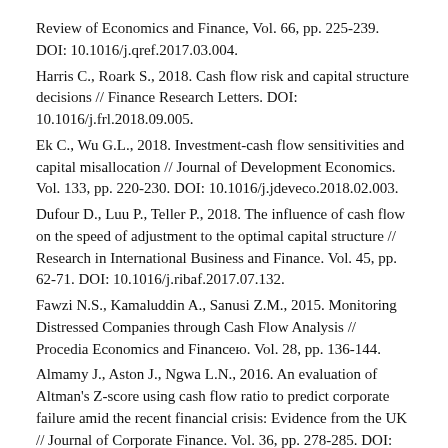Review of Economics and Finance, Vol. 66, pp. 225-239. DOI: 10.1016/j.qref.2017.03.004.
Harris C., Roark S., 2018. Cash flow risk and capital structure decisions // Finance Research Letters. DOI: 10.1016/j.frl.2018.09.005.
Ek C., Wu G.L., 2018. Investment-cash flow sensitivities and capital misallocation // Journal of Development Economics. Vol. 133, pp. 220-230. DOI: 10.1016/j.jdeveco.2018.02.003.
Dufour D., Luu P., Teller P., 2018. The influence of cash flow on the speed of adjustment to the optimal capital structure // Research in International Business and Finance. Vol. 45, pp. 62-71. DOI: 10.1016/j.ribaf.2017.07.132.
Fawzi N.S., Kamaluddin A., Sanusi Z.M., 2015. Monitoring Distressed Companies through Cash Flow Analysis // Procedia Economics and Financeю. Vol. 28, pp. 136-144.
Almamy J., Aston J., Ngwa L.N., 2016. An evaluation of Altman's Z-score using cash flow ratio to predict corporate failure amid the recent financial crisis: Evidence from the UK // Journal of Corporate Finance. Vol. 36, pp. 278-285. DOI: